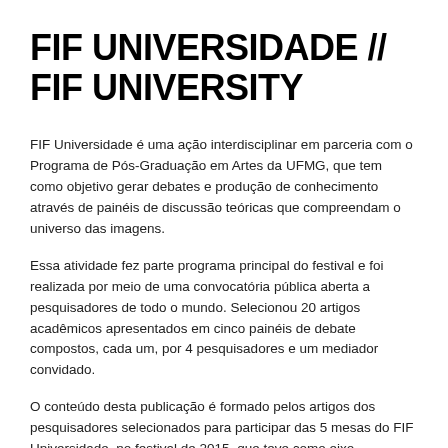FIF UNIVERSIDADE // FIF UNIVERSITY
FIF Universidade é uma ação interdisciplinar em parceria com o Programa de Pós-Graduação em Artes da UFMG, que tem como objetivo gerar debates e produção de conhecimento através de painéis de discussão teóricas que compreendam o universo das imagens.
Essa atividade fez parte programa principal do festival e foi realizada por meio de uma convocatória pública aberta a pesquisadores de todo o mundo. Selecionou 20 artigos acadêmicos apresentados em cinco painéis de debate compostos, cada um, por 4 pesquisadores e um mediador convidado.
O conteúdo desta publicação é formado pelos artigos dos pesquisadores selecionados para participar das 5 mesas do FIF Universidade, no festival de 2015, que teve como eixo orientador de suas ações o conceito: Mundo,